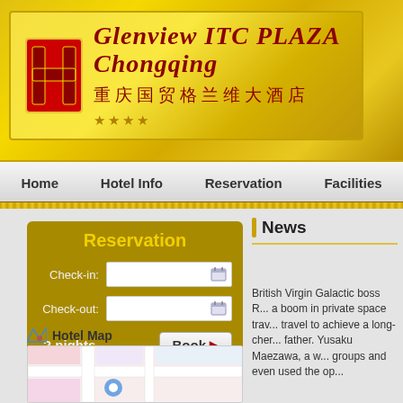[Figure (logo): Glenview ITC PLAZA Chongqing hotel logo with red H icon, English italic title, and Chinese characters 重庆国贸格兰维大酒店 with gold star rating]
Home   Hotel Info   Reservation   Facilities
Reservation
Check-in:
Check-out:
? nights   Book ▶
Hotel Map
[Figure (map): Partial hotel map thumbnail showing street map with pink and blue areas]
News
British Virgin Galactic boss R... a boom in private space trav... travel to achieve a long-cher... father. Yusaku Maezawa, a w... groups and even used the op...